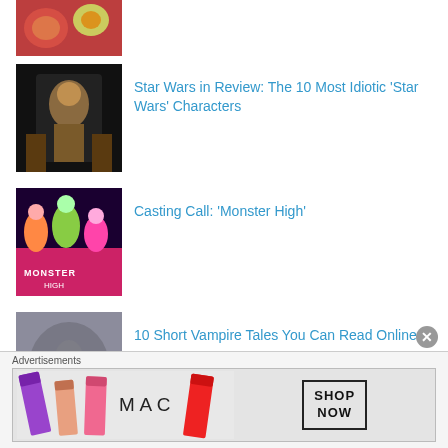[Figure (photo): Colorful food/flowers photo thumbnail at top]
Star Wars in Review: The 10 Most Idiotic 'Star Wars' Characters
Casting Call: 'Monster High'
10 Short Vampire Tales You Can Read Online
Advertisements
[Figure (photo): MAC Cosmetics advertisement banner with lipsticks and SHOP NOW text]